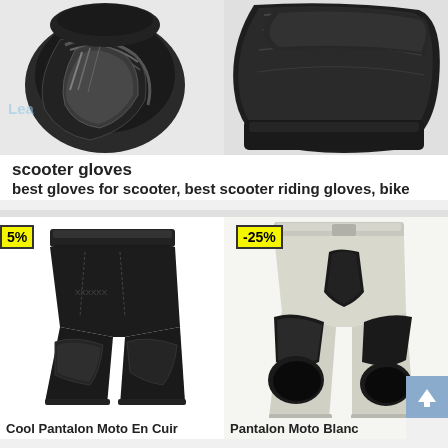[Figure (photo): Two black leather scooter/motorcycle gloves shown from above on white background. Left glove close-up and right glove close-up. Watermark text 'Lea...' partially visible.]
scooter gloves
best gloves for scooter, best scooter riding gloves, bike
[Figure (photo): Black leather motorcycle pants (Cool Pantalon Moto En Cuir) with discount badge showing -5% (partially cut off). White background.]
[Figure (photo): White/light grey leather motorcycle pants (Pantalon Moto Blanc) with black protective panels, discount badge showing -25%. Light background.]
Cool Pantalon Moto En Cuir
Pantalon Moto Blanc